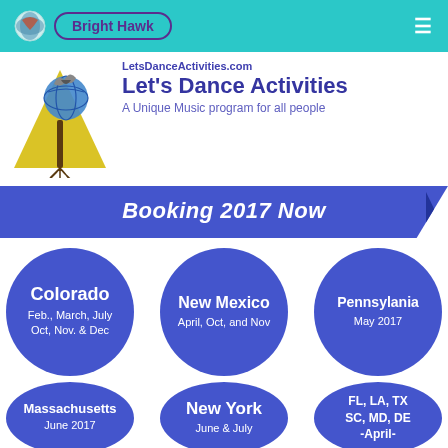Bright Hawk
[Figure (logo): Let's Dance Activities logo: eagle/bird over earth globe above a yellow triangle with roots, illustration style]
LetsDanceActivities.com
Let's Dance Activities
A Unique Music program for all people
[Figure (infographic): Blue parallelogram banner reading 'Booking 2017 Now' in bold white italic text]
Colorado
Feb., March, July
Oct, Nov. & Dec
New Mexico
April, Oct, and Nov
Pennsylania
May 2017
Massachusetts
June 2017
New York
June & July
FL, LA, TX
SC, MD, DE
-April-